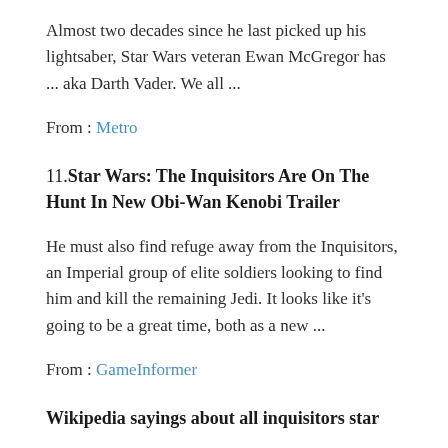Almost two decades since he last picked up his lightsaber, Star Wars veteran Ewan McGregor has ... aka Darth Vader. We all ...
From : Metro
11.Star Wars: The Inquisitors Are On The Hunt In New Obi-Wan Kenobi Trailer
He must also find refuge away from the Inquisitors, an Imperial group of elite soldiers looking to find him and kill the remaining Jedi. It looks like it’s going to be a great time, both as a new ...
From : GameInformer
Wikipedia sayings about all inquisitors star